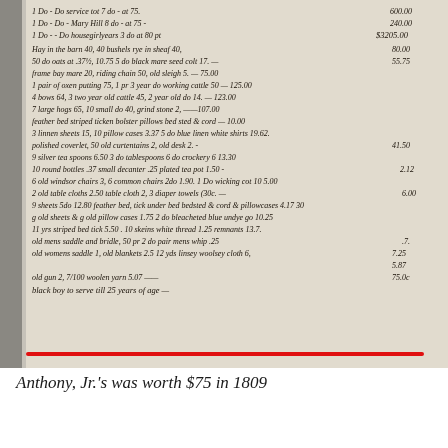[Figure (photo): Handwritten historical manuscript document page showing an estate inventory or will listing various items and values from circa 1809, with a red horizontal line drawn across the bottom of the document image.]
Anthony, Jr.'s was worth $75 in 1809